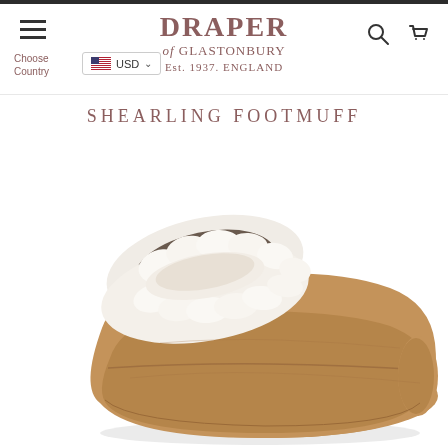DRAPER of GLASTONBURY Est. 1937. ENGLAND
SHEARLING FOOTMUFF
[Figure (photo): A shearling footmuff product photo showing a tan/camel suede exterior boot-shaped muff with thick white fluffy shearling lining visible at the top opening.]